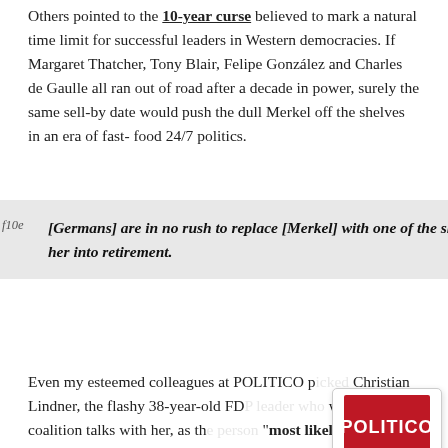Others pointed to the 10-year curse believed to mark a natural time limit for successful leaders in Western democracies. If Margaret Thatcher, Tony Blair, Felipe González and Charles de Gaulle all ran out of road after a decade in power, surely the same sell-by date would push the dull Merkel off the shelves in an era of fast-food 24/7 politics.
f10e[Germans] are in no rush to replace [Merkel] with one of the sharp elbowed 30-something wannabes vying to wheel her into retirement.
Even my esteemed colleagues at POLITICO p... Christian Lindner, the flashy 38-year-old FDP... walked out of coalition talks with her, as the... "most likely to shape our world in 2018." Fat... Lindner is in for a long wait on the opposition benches.
[Figure (logo): POLITICO logo in red square with white text, and a black square with white P, label 'Politi...']